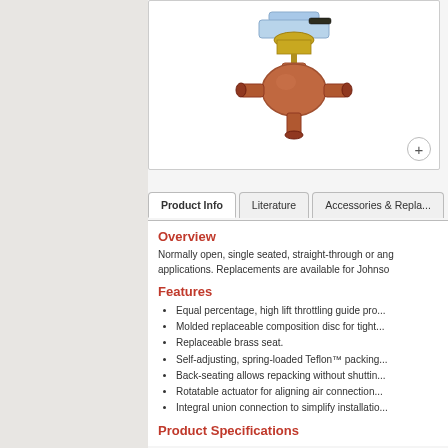[Figure (photo): Bronze globe valve with actuator/controller mounted on top, shown at an angle. The valve body is copper/bronze colored with threaded connections.]
Product Info | Literature | Accessories & Repla...
Overview
Normally open, single seated, straight-through or ang... applications. Replacements are available for Johnso...
Features
Equal percentage, high lift throttling guide pro...
Molded replaceable composition disc for tight...
Replaceable brass seat.
Self-adjusting, spring-loaded Teflon™ packing...
Back-seating allows repacking without shuttin...
Rotatable actuator for aligning air connection...
Integral union connection to simplify installatio...
Product Specifications